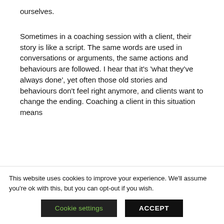ourselves.
Sometimes in a coaching session with a client, their story is like a script. The same words are used in conversations or arguments, the same actions and behaviours are followed. I hear that it’s ‘what they’ve always done’, yet often those old stories and behaviours don’t feel right anymore, and clients want to change the ending. Coaching a client in this situation means
This website uses cookies to improve your experience. We’ll assume you’re ok with this, but you can opt-out if you wish.